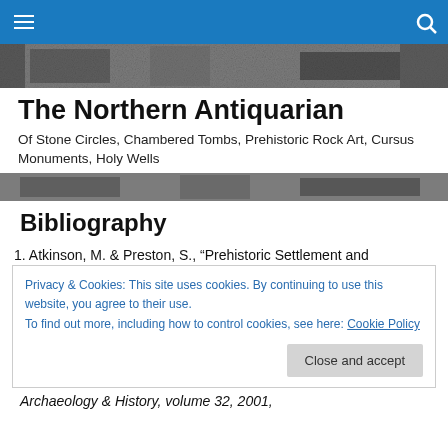Navigation bar with menu and search icons
[Figure (photo): Black and white textured stone/rock art hero image]
The Northern Antiquarian
Of Stone Circles, Chambered Tombs, Prehistoric Rock Art, Cursus Monuments, Holy Wells
[Figure (photo): Black and white textured stone/rock art hero image (second)]
Bibliography
1. Atkinson, M. & Preston, S., “Prehistoric Settlement and
Privacy & Cookies: This site uses cookies. By continuing to use this website, you agree to their use.
To find out more, including how to control cookies, see here: Cookie Policy
[Close and accept]
Archaeology & History, volume 32, 2001,